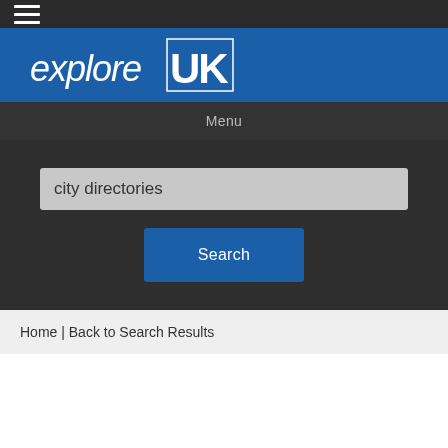[Figure (logo): Explore UK logo on blue header bar with hamburger menu icon on dark bar above]
Menu
city directories
Search
Home | Back to Search Results